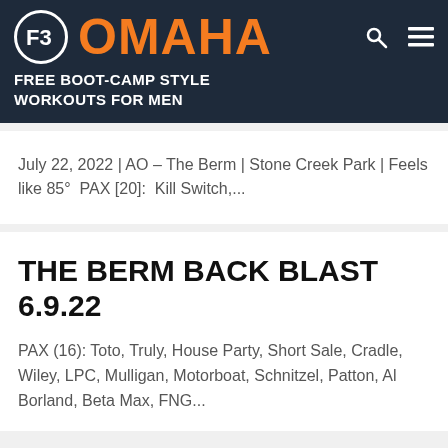F3 OMAHA
FREE BOOT-CAMP STYLE WORKOUTS FOR MEN
July 22, 2022 | AO – The Berm | Stone Creek Park | Feels like 85°  PAX [20]:  Kill Switch,...
THE BERM BACK BLAST 6.9.22
PAX (16): Toto, Truly, House Party, Short Sale, Cradle, Wiley, LPC, Mulligan, Motorboat, Schnitzel, Patton, Al Borland, Beta Max, FNG...